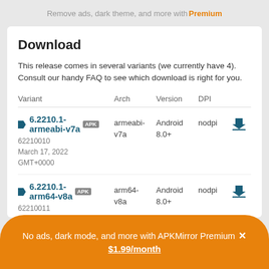Remove ads, dark theme, and more with Premium
Download
This release comes in several variants (we currently have 4). Consult our handy FAQ to see which download is right for you.
| Variant | Arch | Version | DPI |  |
| --- | --- | --- | --- | --- |
| 6.2210.1-armeabi-v7a APK
62210010
March 17, 2022
GMT+0000 | armeabi-
v7a | Android
8.0+ | nodpi | ↓ |
| 6.2210.1-arm64-v8a APK
62210011
March... | arm64-
v8a | Android
8.0+ | nodpi | ↓ |
No ads, dark mode, and more with APKMirror Premium ✕
$1.99/month